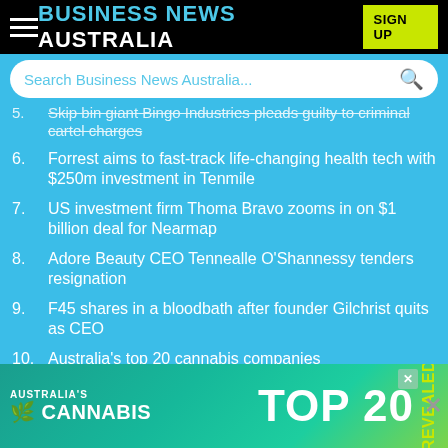BUSINESS NEWS AUSTRALIA
[Figure (screenshot): Search bar with placeholder text 'Search Business News Australia...' and a search icon]
5. Skip bin giant Bingo Industries pleads guilty to criminal cartel charges
6. Forrest aims to fast-track life-changing health tech with $250m investment in Tenmile
7. US investment firm Thoma Bravo zooms in on $1 billion deal for Nearmap
8. Adore Beauty CEO Tennealle O'Shannessy tenders resignation
9. F45 shares in a bloodbath after founder Gilchrist quits as CEO
10. Australia's top 20 cannabis companies
[Figure (infographic): Advertisement banner: Australia's Cannabis Top 20 Revealed]